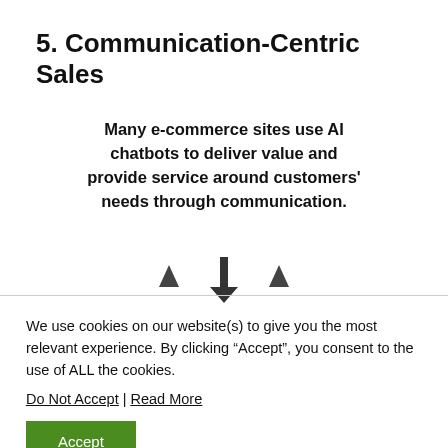5. Communication-Centric Sales
Many e-commerce sites use AI chatbots to deliver value and provide service around customers' needs through communication.
[Figure (illustration): Three downward-pointing arrow/triangle icons arranged horizontally, with the center one larger than the outer two, suggesting a navigation or scroll indicator.]
We use cookies on our website(s) to give you the most relevant experience. By clicking “Accept”, you consent to the use of ALL the cookies.
Do Not Accept | Read More
Accept